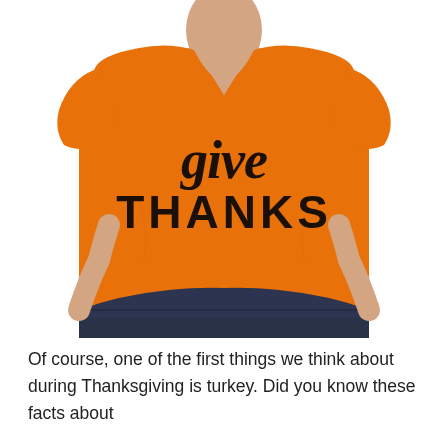[Figure (photo): A person wearing an orange v-neck t-shirt with the text 'give THANKS' printed on the front in black script and block lettering. Only the torso is visible, wearing dark jeans.]
Of course, one of the first things we think about during Thanksgiving is turkey. Did you know these facts about